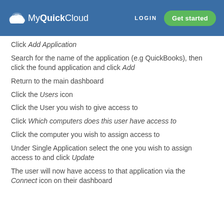MyQuickCloud  LOGIN  Get started
Click Add Application
Search for the name of the application (e.g QuickBooks), then click the found application and click Add
Return to the main dashboard
Click the Users icon
Click the User you wish to give access to
Click Which computers does this user have access to
Click the computer you wish to assign access to
Under Single Application select the one you wish to assign access to and click Update
The user will now have access to that application via the Connect icon on their dashboard